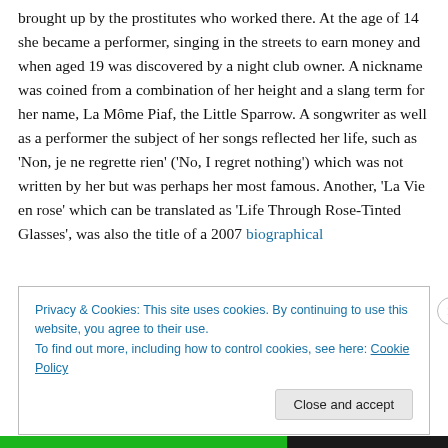brought up by the prostitutes who worked there. At the age of 14 she became a performer, singing in the streets to earn money and when aged 19 was discovered by a night club owner. A nickname was coined from a combination of her height and a slang term for her name, La Môme Piaf, the Little Sparrow. A songwriter as well as a performer the subject of her songs reflected her life, such as 'Non, je ne regrette rien' ('No, I regret nothing') which was not written by her but was perhaps her most famous. Another, 'La Vie en rose' which can be translated as 'Life Through Rose-Tinted Glasses', was also the title of a 2007 biographical
Privacy & Cookies: This site uses cookies. By continuing to use this website, you agree to their use.
To find out more, including how to control cookies, see here: Cookie Policy
Close and accept